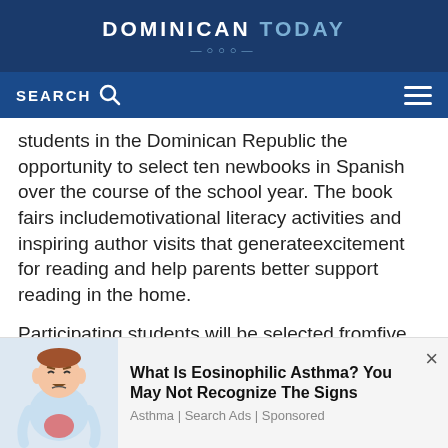DOMINICAN TODAY
SEARCH
students in the Dominican Republic the opportunity to select ten newbooks in Spanish over the course of the school year. The book fairs includemotivational literacy activities and inspiring author visits that generateexcitement for reading and help parents better support reading in the home.
Participating students will be selected fromfive area public schools as well as DREAM’s Early Childhood and High QualityPrimary Education programs, including the Montessori Early Childhood Program,Young Stars, Summer Schools and Camps, and the DREAM con Libros Mobile Library.
This is the second round of book fairs for2016-17, with the
[Figure (illustration): Cartoon illustration of a person with stomach pain, shown from the torso up, with a visible red area on the abdomen indicating discomfort.]
What Is Eosinophilic Asthma? You May Not Recognize The Signs
Asthma | Search Ads | Sponsored